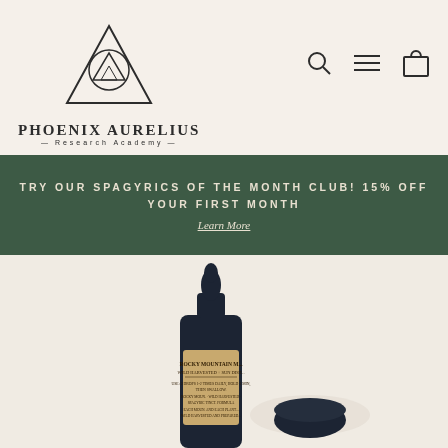[Figure (logo): Phoenix Aurelius Research Academy logo — geometric triangles and circle mark above the brand name]
[Figure (illustration): Navigation icons: magnifying glass (search), hamburger menu, and shopping bag]
TRY OUR SPAGYRICS OF THE MONTH CLUB! 15% OFF YOUR FIRST MONTH
Learn More
[Figure (photo): Dark glass dropper bottle labeled 'Rocky Mountain M... Wild Harvested + Sun Dist...' with product text, next to a dark screw cap lid, on a warm beige background]